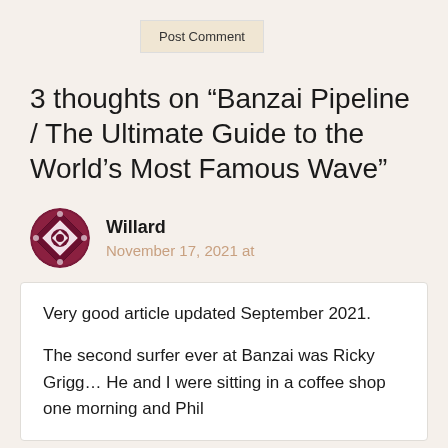Post Comment
3 thoughts on “Banzai Pipeline / The Ultimate Guide to the World’s Most Famous Wave”
Willard
November 17, 2021 at
Very good article updated September 2021.

The second surfer ever at Banzai was Ricky Grigg… He and I were sitting in a coffee shop one morning and Phil